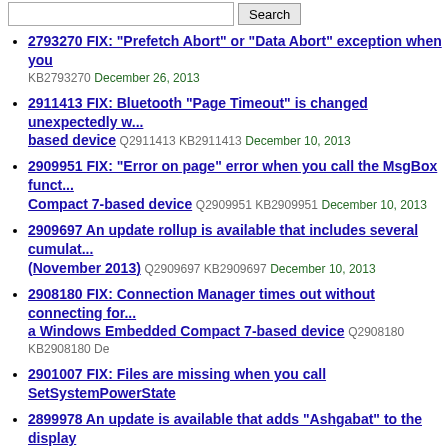2793270 FIX: "Prefetch Abort" or "Data Abort" exception when you... KB2793270 December 26, 2013
2911413 FIX: Bluetooth "Page Timeout" is changed unexpectedly w... based device Q2911413 KB2911413 December 10, 2013
2909951 FIX: "Error on page" error when you call the MsgBox funct... Compact 7-based device Q2909951 KB2909951 December 10, 2013
2909697 An update rollup is available that includes several cumulat... (November 2013) Q2909697 KB2909697 December 10, 2013
2908180 FIX: Connection Manager times out without connecting for... a Windows Embedded Compact 7-based device Q2908180 KB2908180 De...
2901007 FIX: Files are missing when you call SetSystemPowerState...
2899978 An update is available that adds "Ashgabat" to the display... Q2899978 KB2899978 November 12, 2013
2875178 FIX: Active socket connection is disconnected while quick... November 12, 2013
2783856 FIX: Slow Wi-Fi reconnect after you resume a Windows Em...
2804564 WinTPC cannot be activated with KMS if Write Filters are u...
2872047 Update is available that prevents the PSModulePath enviro... uninstall WMF 4.0 in Windows Q2872047 KB2872047 October 25, 2013
2872035 Update prevents the "PSModulePath" environment variabl... 25, 2013
2819745 Description of WMF 4.0 for Windows 7 SP1, Windows Emb... 2013